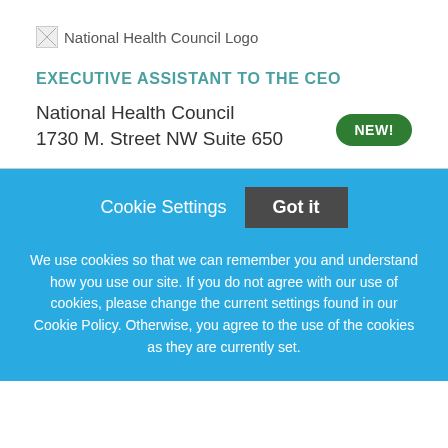[Figure (logo): National Health Council Logo — broken image placeholder with alt text]
EXECUTIVE ASSISTANT TO THE CEO
National Health Council
1730 M. Street NW Suite 650
NEW!
Cookie Settings  Got it
We use cookies so that we can remember you and understand how you use our site. If you do not agree with our use of cookies, please change the current settings found in our Cookie Policy. Otherwise, you agree to the use of the cookies as they are currently set.